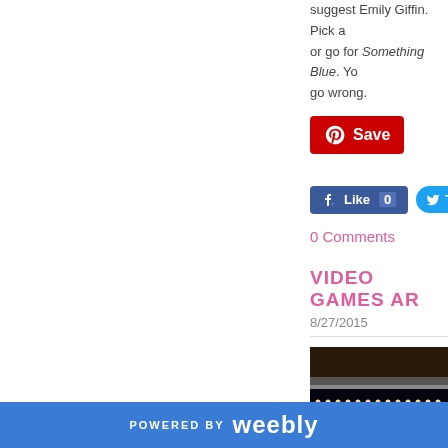suggest Emily Giffin. Pick a or go for Something Blue. You go wrong.
[Figure (screenshot): Pinterest Save button - red rounded rectangle with Pinterest logo and 'Save' text in white]
[Figure (screenshot): Facebook Like button showing count 0, and partial Twitter button]
0 Comments
VIDEO GAMES AR
8/27/2015
[Figure (photo): Photo of a Pac-Man arcade machine display showing dots and yellow 'THE' text on dark background]
POWERED BY weebly